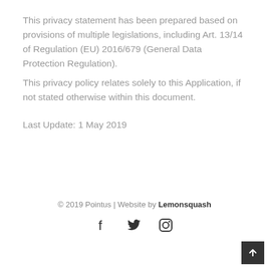This privacy statement has been prepared based on provisions of multiple legislations, including Art. 13/14 of Regulation (EU) 2016/679 (General Data Protection Regulation).
This privacy policy relates solely to this Application, if not stated otherwise within this document.
Last Update: 1 May 2019
© 2019 Pointus | Website by Lemonsquash